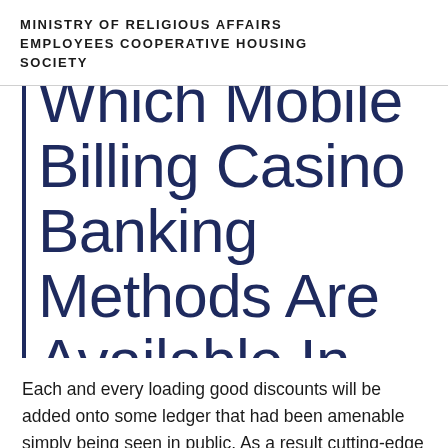MINISTRY OF RELIGIOUS AFFAIRS EMPLOYEES COOPERATIVE HOUSING SOCIETY
Which Mobile Billing Casino Banking Methods Are Available In The Uk?
Each and every loading good discounts will be added onto some ledger that had been amenable simply being seen in public. As a result cutting-edge times, it'ohydrates as much unrealistic for memorise painters